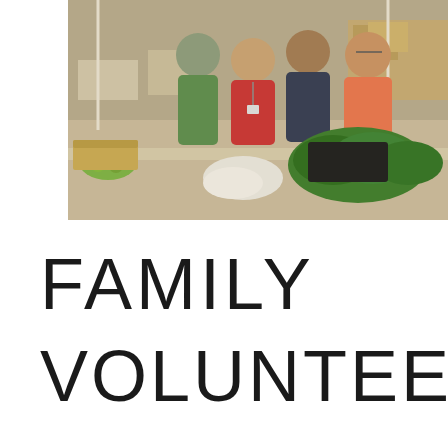[Figure (photo): Group of volunteers at a food distribution event. Four people posing together — a teenage boy in green shirt, a girl in red shirt with a name badge/lanyard, an adult in dark polo shirt, and an older man in orange shirt. Tables with boxes of limes/produce and leafy green vegetables in the foreground. Indoor warehouse-like setting with cardboard boxes in the background.]
FAMILY
VOLUNTEERING